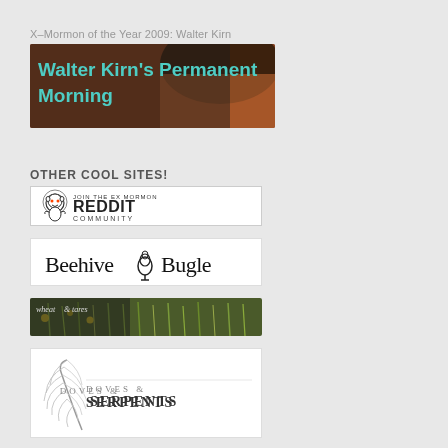X-Mormon of the Year 2009: Walter Kirn
[Figure (screenshot): Banner image for Walter Kirn's Permanent Morning with teal text on a photo background]
OTHER COOL SITES!
[Figure (logo): Join the Ex Mormon Reddit Community banner with Reddit alien mascot logo]
[Figure (logo): Beehive Bugle logo with beehive icon in serif font on white background]
[Figure (photo): Wheat and Tares banner with photo of wheat/grass plants and overlay text]
[Figure (logo): Doves and Serpents logo with feather illustration and serif text]